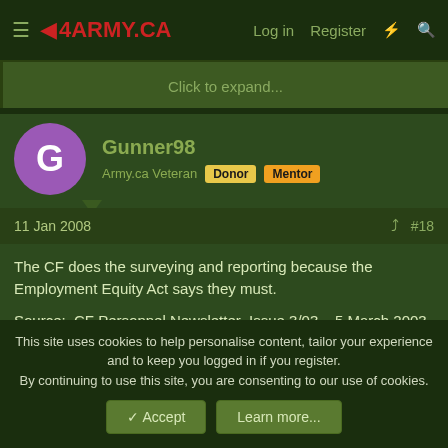4ARMY.CA  Log in  Register
Click to expand...
Gunner98
Army.ca Veteran  Donor  Mentor
11 Jan 2008  #18
The CF does the surveying and reporting because the Employment Equity Act says they must.

Source:  CF Personnel Newsletter  Issue 3/03 – 5 March 2003

Ref: http://www.mdn.ca/hr/cfpn/engraph/3_03/3_03_ee-main_e.asp
This site uses cookies to help personalise content, tailor your experience and to keep you logged in if you register.
By continuing to use this site, you are consenting to our use of cookies.